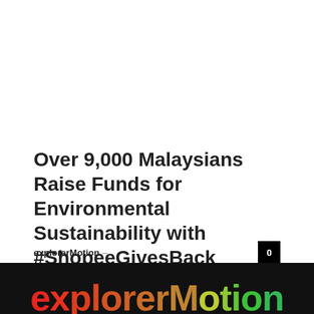Over 9,000 Malaysians Raise Funds for Environmental Sustainability with #ShopeeGivesBack
explorerMotion –
[Figure (logo): explorerMotion logo in colored text on black background at bottom of page]